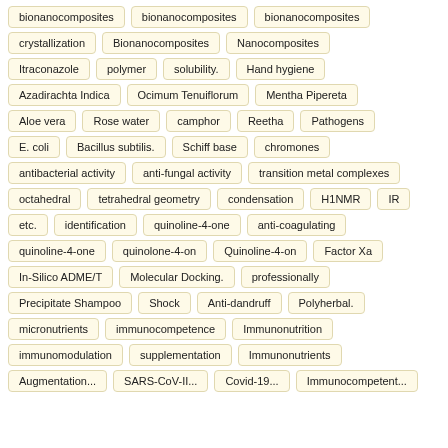bionanocomposites bionanocomposites bionanocomposites
crystallization Bionanocomposites Nanocomposites
Itraconazole polymer solubility. Hand hygiene
Azadirachta Indica Ocimum Tenuiflorum Mentha Pipereta
Aloe vera Rose water camphor Reetha Pathogens
E. coli Bacillus subtilis. Schiff base chromones
antibacterial activity anti-fungal activity transition metal complexes
octahedral tetrahedral geometry condensation H1NMR IR
etc. identification quinoline-4-one anti-coagulating
quinoline-4-one quinolone-4-on Quinoline-4-on Factor Xa
In-Silico ADME/T Molecular Docking. professionally
Precipitate Shampoo Shock Anti-dandruff Polyherbal.
micronutrients immunocompetence Immunonutrition
immunomodulation supplementation Immunonutrients
Augmentation... SARS-CoV-II... Covid-19... Immunocompetent...